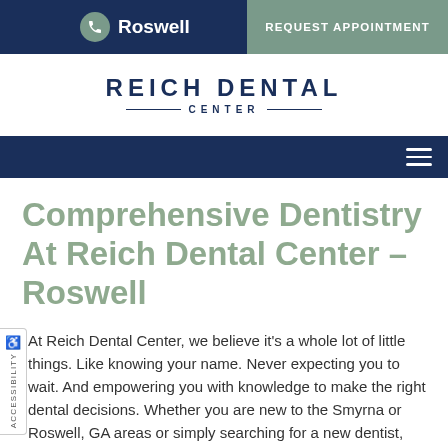Roswell | REQUEST APPOINTMENT
[Figure (logo): Reich Dental Center logo with horizontal lines flanking CENTER text]
Comprehensive Dentistry At Reich Dental Center – Roswell
At Reich Dental Center, we believe it's a whole lot of little things. Like knowing your name. Never expecting you to wait. And empowering you with knowledge to make the right dental decisions. Whether you are new to the Smyrna or Roswell, GA areas or simply searching for a new dentist, Reich